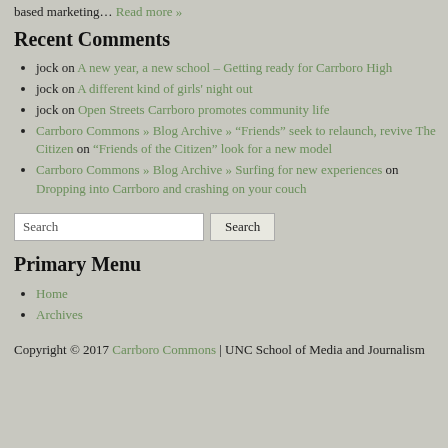based marketing… Read more »
Recent Comments
jock on A new year, a new school – Getting ready for Carrboro High
jock on A different kind of girls' night out
jock on Open Streets Carrboro promotes community life
Carrboro Commons » Blog Archive » "Friends" seek to relaunch, revive The Citizen on "Friends of the Citizen" look for a new model
Carrboro Commons » Blog Archive » Surfing for new experiences on Dropping into Carrboro and crashing on your couch
Search [input] Search [button]
Primary Menu
Home
Archives
Copyright © 2017 Carrboro Commons | UNC School of Media and Journalism